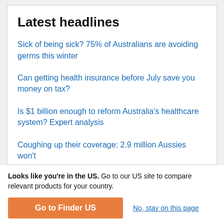Latest headlines
Sick of being sick? 75% of Australians are avoiding germs this winter
Can getting health insurance before July save you money on tax?
Is $1 billion enough to reform Australia's healthcare system? Expert analysis
Coughing up their coverage: 2.9 million Aussies won't
Looks like you're in the US. Go to our US site to compare relevant products for your country.
Go to Finder US
No, stay on this page